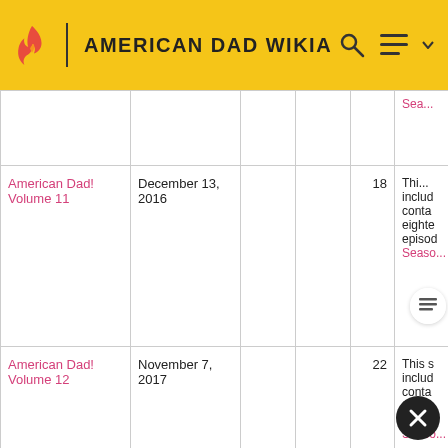AMERICAN DAD WIKIA
| Title | Release Date |  |  | Episodes | Description |
| --- | --- | --- | --- | --- | --- |
|  |  |  |  | Sea... |  |
| American Dad! Volume 11 | December 13, 2016 |  |  | 18 | This set includes conta eighteen episod Seaso... |
| American Dad! Volume 12 | November 7, 2017 |  |  | 22 | This s includ conta twent episod Seaso... |
| American Dad! Volume | November 6, 2018 |  |  | 22 | Thi... includ conta... |